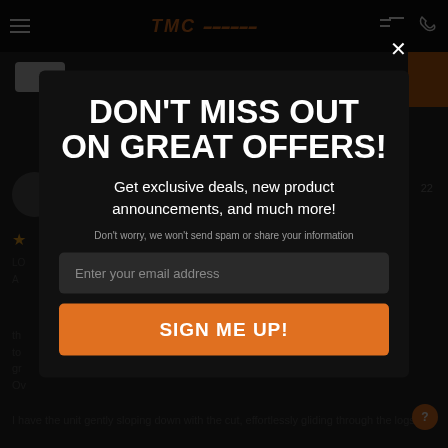TMC [logo] navigation bar
DON'T MISS OUT ON GREAT OFFERS!
Get exclusive deals, new product announcements, and much more!
Don't worry, we won't send spam or share your information
Enter your email address
SIGN ME UP!